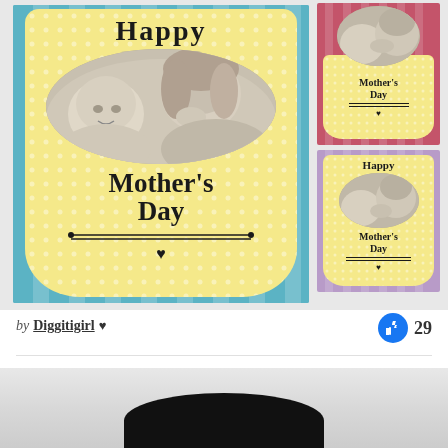[Figure (illustration): Mother's Day greeting card designs showing a mother kissing a baby, in three color variants: teal/blue (large left), pink/red (small top right), and purple (small bottom right). Cards feature 'Happy Mother's Day' text with decorative badge frames and heart ornament.]
by Diggitigirl ♥
29
[Figure (photo): Partial view of a dark rounded object (appears to be a mug or similar item) against a light gray textured background, cropped at bottom of page.]